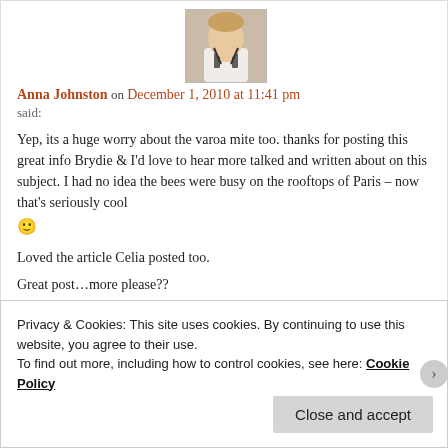[Figure (photo): Avatar photo of Anna Johnston, a person in white chef-style clothing with arms crossed]
Anna Johnston on December 1, 2010 at 11:41 pm
said:
Yep, its a huge worry about the varoa mite too. thanks for posting this great info Brydie & I'd love to hear more talked and written about on this subject. I had no idea the bees were busy on the rooftops of Paris – now that's seriously cool 🙂
Loved the article Celia posted too.
Great post…more please??
🙂
Privacy & Cookies: This site uses cookies. By continuing to use this website, you agree to their use.
To find out more, including how to control cookies, see here: Cookie Policy